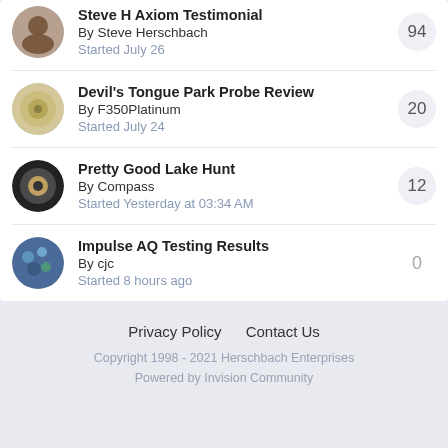Steve H Axiom Testimonial | By Steve Herschbach | Started July 26 | 94 replies
Devil's Tongue Park Probe Review | By F350Platinum | Started July 24 | 20 replies
Pretty Good Lake Hunt | By Compass | Started Yesterday at 03:34 AM | 12 replies
Impulse AQ Testing Results | By cjc | Started 8 hours ago | 0 replies
Privacy Policy   Contact Us
Copyright 1998 - 2021 Herschbach Enterprises
Powered by Invision Community